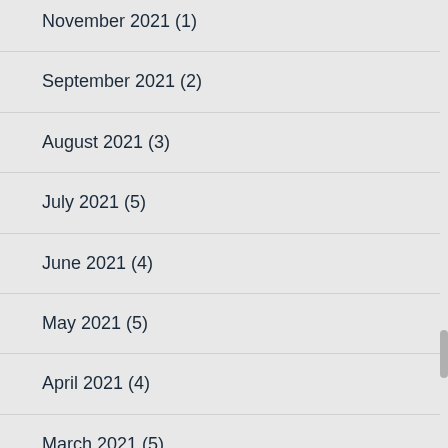November 2021 (1)
September 2021 (2)
August 2021 (3)
July 2021 (5)
June 2021 (4)
May 2021 (5)
April 2021 (4)
March 2021 (5)